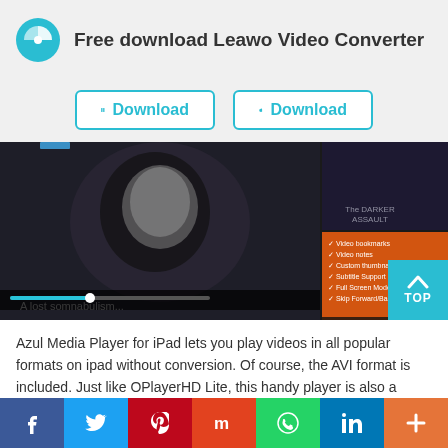Free download Leawo Video Converter
[Figure (screenshot): Two download buttons for Windows and Mac - cyan outlined buttons with Windows icon and Apple icon respectively, labeled Download]
[Figure (screenshot): Screenshot of Azul Media Player for iPad showing a dark video scene with a pale-faced character, video controls at bottom, thumbnail panel on right, and an orange feature list overlay. Text at bottom: A lost somnabulism...]
Azul Media Player for iPad lets you play videos in all popular formats on ipad without conversion. Of course, the AVI format is included. Just like OPlayerHD Lite, this handy player is also a video download that lets you download and stream online videos.
Social share bar: Facebook, Twitter, Pinterest, Mix, WhatsApp, LinkedIn, Plus